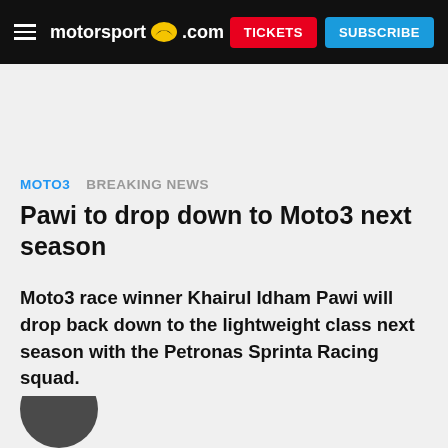motorsport.com  TICKETS  SUBSCRIBE
MOTO3  BREAKING NEWS
Pawi to drop down to Moto3 next season
Moto3 race winner Khairul Idham Pawi will drop back down to the lightweight class next season with the Petronas Sprinta Racing squad.
[Figure (photo): Partial photo of a person (head/shoulders) visible at bottom of page]